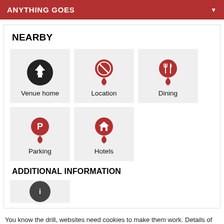ANYTHING GOES
NEARBY
[Figure (infographic): Grid of navigation tiles: Venue home (star icon), Location (map pin with line), Dining (map pin with fork/knife), Parking (map pin with P), Hotels (map pin with house)]
ADDITIONAL INFORMATION
You know the drill, websites need cookies to make them work. Details of how we do it here.
Got it!